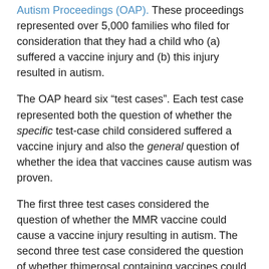Autism Proceedings (OAP). These proceedings represented over 5,000 families who filed for consideration that they had a child who (a) suffered a vaccine injury and (b) this injury resulted in autism.
The OAP heard six “test cases”. Each test case represented both the question of whether the specific test-case child considered suffered a vaccine injury and also the general question of whether the idea that vaccines cause autism was proven.
The first three test cases considered the question of whether the MMR vaccine could cause a vaccine injury resulting in autism. The second three test case considered the question of whether thimerosal containing vaccines could cause vaccine injury resulting in autism.
The decisions from the MMR cases have been handed